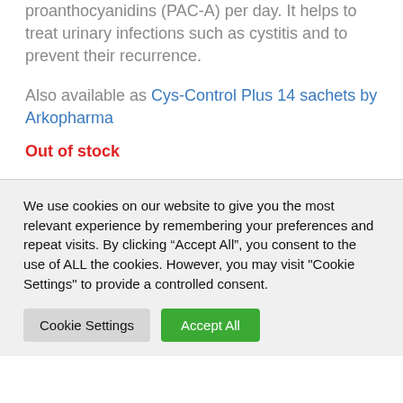proanthocyanidins (PAC-A) per day. It helps to treat urinary infections such as cystitis and to prevent their recurrence.
Also available as Cys-Control Plus 14 sachets by Arkopharma
Out of stock
We use cookies on our website to give you the most relevant experience by remembering your preferences and repeat visits. By clicking “Accept All”, you consent to the use of ALL the cookies. However, you may visit "Cookie Settings" to provide a controlled consent.